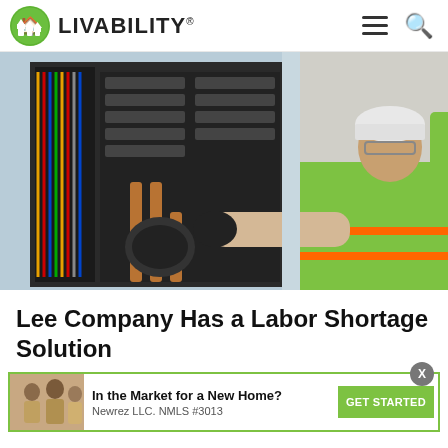LIVABILITY
[Figure (photo): Two workers in high-visibility green and orange safety vests working on an electrical panel or HVAC unit. One worker wears a white hard hat and glasses, reaching into the open panel.]
Lee Company Has a Labor Shortage Solution
[Figure (infographic): Advertisement banner: 'In the Market for a New Home? Newrez LLC. NMLS #3013 GET STARTED' with a photo of people and a green CTA button.]